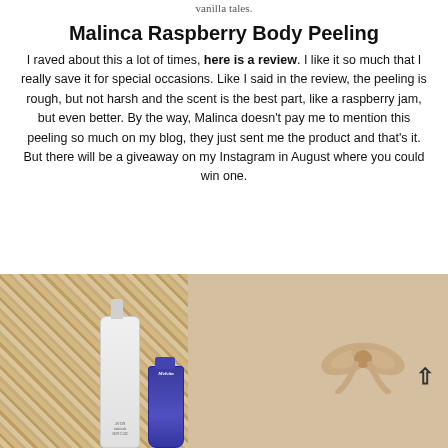vanilla tales.
Malinca Raspberry Body Peeling
I raved about this a lot of times, here is a review. I like it so much that I really save it for special occasions. Like I said in the review, the peeling is rough, but not harsh and the scent is the best part, like a raspberry jam, but even better. By the way, Malinca doesn't pay me to mention this peeling so much on my blog, they just sent me the product and that's it. But there will be a giveaway on my Instagram in August where you could win one.
[Figure (photo): Product photo showing a spray bottle (Avon Naturals Skin Care) and a small blue tube (Melvita) against a wicker basket and beige gift box background with bow]